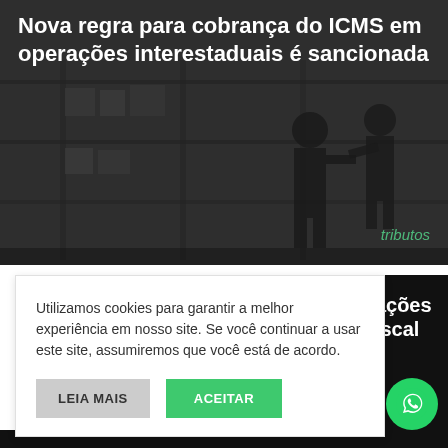[Figure (photo): Dark grayscale photo of a warehouse/logistics scene with two people (workers) walking among shelves with boxes. Used as hero background image.]
Nova regra para cobrança do ICMS em operações interestaduais é sancionada
tributos
Utilizamos cookies para garantir a melhor experiência em nosso site. Se você continuar a usar este site, assumiremos que você está de acordo.
LEIA MAIS
ACEITAR
ociações a Fiscal de